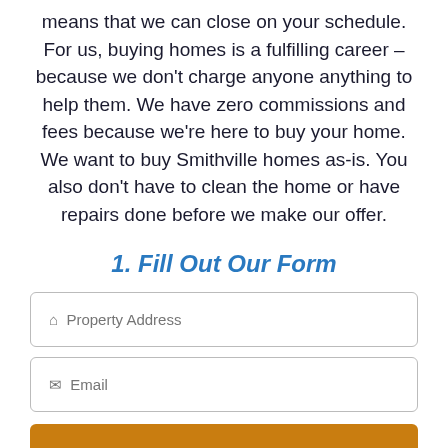means that we can close on your schedule. For us, buying homes is a fulfilling career – because we don't charge anyone anything to help them. We have zero commissions and fees because we're here to buy your home. We want to buy Smithville homes as-is. You also don't have to clean the home or have repairs done before we make our offer.
1. Fill Out Our Form
[Figure (other): A web form with two input fields: Property Address and Email, and a partially visible orange Submit button at the bottom.]